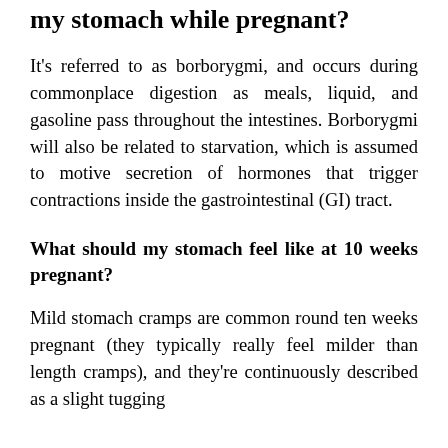my stomach while pregnant?
It's referred to as borborygmi, and occurs during commonplace digestion as meals, liquid, and gasoline pass throughout the intestines. Borborygmi will also be related to starvation, which is assumed to motive secretion of hormones that trigger contractions inside the gastrointestinal (GI) tract.
What should my stomach feel like at 10 weeks pregnant?
Mild stomach cramps are common round ten weeks pregnant (they typically really feel milder than length cramps), and they're continuously described as a slight tugging